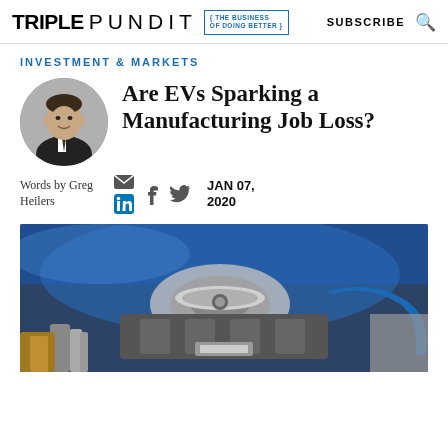TRIPLE PUNDIT { THE BUSINESS OF DOING BETTER } SUBSCRIBE 🔍
INVESTMENT & MARKETS
[Figure (photo): Circular black-and-white headshot of Greg Heilers, a man in a suit and tie]
Are EVs Sparking a Manufacturing Job Loss?
Words by Greg Heilers
JAN 07, 2020
[Figure (photo): Close-up photo of a vintage car engine bay with chrome parts, blue metallic paint, and an air filter assembly, in vivid color]